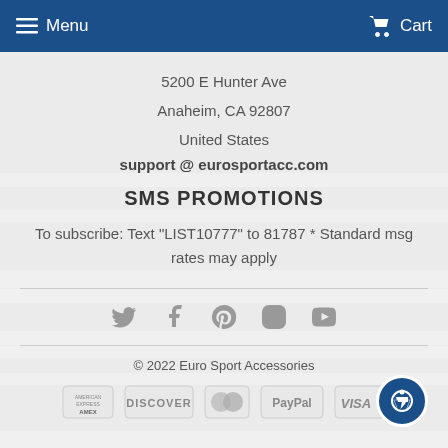Menu  Cart
5200 E Hunter Ave
Anaheim, CA 92807
United States
support @ eurosportacc.com
SMS PROMOTIONS
To subscribe: Text "LIST10777" to 81787 * Standard msg rates may apply
[Figure (other): Social media icons: Twitter, Facebook, Pinterest, Instagram, YouTube]
© 2022 Euro Sport Accessories
[Figure (other): Payment method icons: American Express, Discover, Mastercard, PayPal, Visa; and accessibility button]